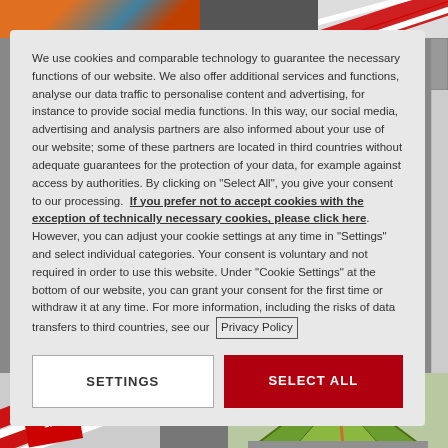[Figure (screenshot): Top background showing partial outdoor/adventure photo on left and diagonal red-white stripes on right]
We use cookies and comparable technology to guarantee the necessary functions of our website. We also offer additional services and functions, analyse our data traffic to personalise content and advertising, for instance to provide social media functions. In this way, our social media, advertising and analysis partners are also informed about your use of our website; some of these partners are located in third countries without adequate guarantees for the protection of your data, for example against access by authorities. By clicking on "Select All", you give your consent to our processing.  If you prefer not to accept cookies with the exception of technically necessary cookies, please click here. However, you can adjust your cookie settings at any time in "Settings" and select individual categories. Your consent is voluntary and not required in order to use this website. Under "Cookie Settings" at the bottom of our website, you can grant your consent for the first time or withdraw it at any time. For more information, including the risks of data transfers to third countries, see our  Privacy Policy
[Figure (screenshot): Bottom background showing diagonal red-white stripes on left with sale badge showing 10%, and a green tent on the right]